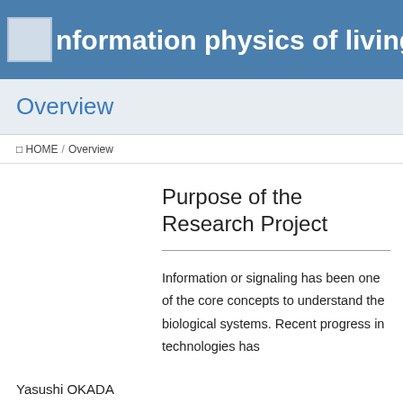Information physics of living matters
Overview
HOME / Overview
Purpose of the Research Project
Yasushi OKADA
Information or signaling has been one of the core concepts to understand the biological systems. Recent progress in technologies has